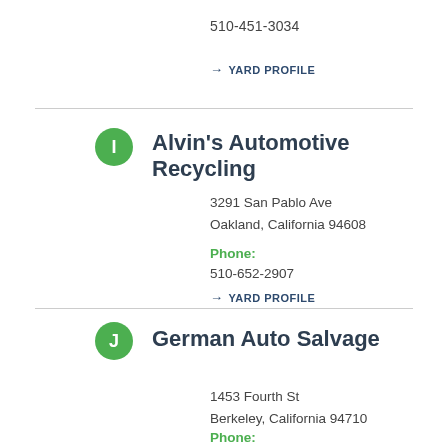510-451-3034
→ YARD PROFILE
Alvin's Automotive Recycling
3291 San Pablo Ave
Oakland, California 94608
Phone:
510-652-2907
→ YARD PROFILE
German Auto Salvage
1453 Fourth St
Berkeley, California 94710
Phone: